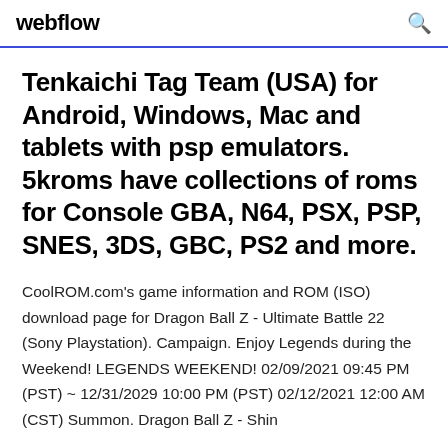webflow
Tenkaichi Tag Team (USA) for Android, Windows, Mac and tablets with psp emulators. 5kroms have collections of roms for Console GBA, N64, PSX, PSP, SNES, 3DS, GBC, PS2 and more.
CoolROM.com's game information and ROM (ISO) download page for Dragon Ball Z - Ultimate Battle 22 (Sony Playstation). Campaign. Enjoy Legends during the Weekend! LEGENDS WEEKEND! 02/09/2021 09:45 PM (PST) ~ 12/31/2029 10:00 PM (PST) 02/12/2021 12:00 AM (CST) Summon. Dragon Ball Z - Shin